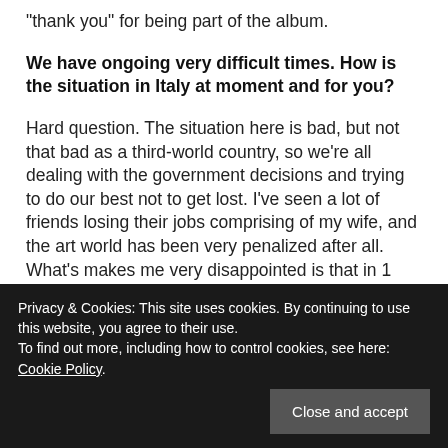“thank you” for being part of the album.
We have ongoing very difficult times. How is the situation in Italy at moment and for you?
Hard question. The situation here is bad, but not that bad as a third-world country, so we’re all dealing with the government decisions and trying to do our best not to get lost. I’ve seen a lot of friends losing their jobs comprising of my wife, and the art world has been very penalized after all. What’s makes me very disappointed is that in 1 year the Italian government didn’t found concrete solutions to revitalize our
Privacy & Cookies: This site uses cookies. By continuing to use this website, you agree to their use.
To find out more, including how to control cookies, see here: Cookie Policy
Close and accept